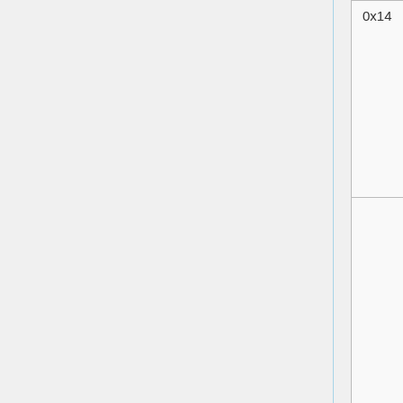| Offset | Name | Type | Default |
| --- | --- | --- | --- |
| 0x14 | Pitch | byte | 0 |
|  | Current Item | short | 0 |